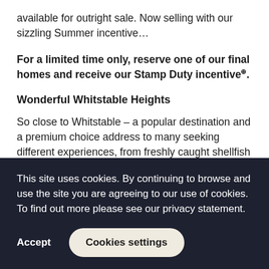available for outright sale. Now selling with our sizzling Summer incentive…
For a limited time only, reserve one of our final homes and receive our Stamp Duty incentive*.
Wonderful Whitstable Heights
So close to Whitstable – a popular destination and a premium choice address to many seeking different experiences, from freshly caught shellfish in the harbour, to craft market purchases and boutique-style shopping in the town centre.
This site uses cookies. By continuing to browse and use the site you are agreeing to our use of cookies. To find out more please see our privacy statement.